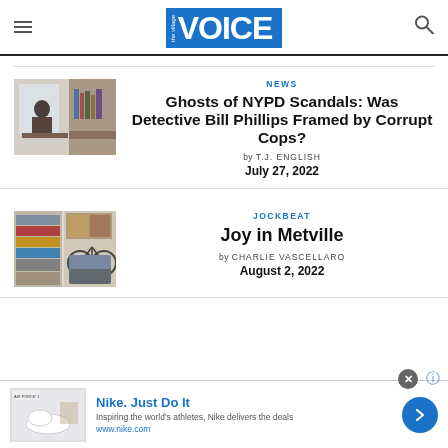the Village VOICE
[Figure (photo): Person sitting at a desk near a window with books]
NEWS
Ghosts of NYPD Scandals: Was Detective Bill Phillips Framed by Corrupt Cops?
by T.J. ENGLISH
July 27, 2022
[Figure (photo): Collage of street scenes, bike, posters]
JOCKBEAT
Joy in Metville
by CHARLIE VASCELLARO
August 2, 2022
Nike. Just Do It
Inspiring the world's athletes, Nike delivers the deals
www.nike.com